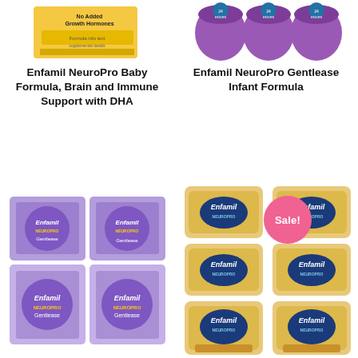[Figure (photo): Enfamil NeuroPro Baby Formula product box, yellow packaging, partially visible at top left]
[Figure (photo): Enfamil NeuroPro Gentlease Infant Formula purple bottles/containers, three shown, partially visible at top right]
Enfamil NeuroPro Baby Formula, Brain and Immune Support with DHA
Enfamil NeuroPro Gentlease Infant Formula
[Figure (photo): Multiple purple Enfamil NeuroPro Gentlease boxes shown with a pink Sale! badge circle overlaid]
[Figure (photo): Six gold/cream colored Enfamil NeuroPro formula cans arranged in a 2x3 grid]